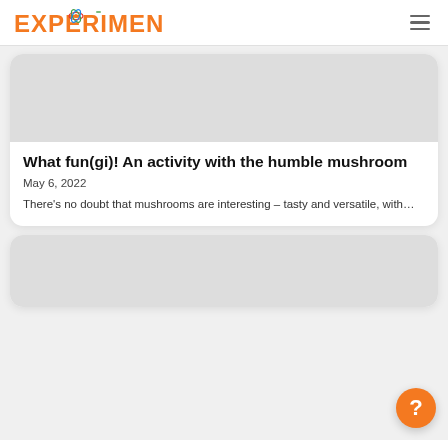EXPERIMENTARY
[Figure (photo): Gray placeholder image area at top of article card]
What fun(gi)! An activity with the humble mushroom
May 6, 2022
There’s no doubt that mushrooms are interesting – tasty and versatile, with…
[Figure (photo): Second article card partially visible at bottom, gray placeholder image]